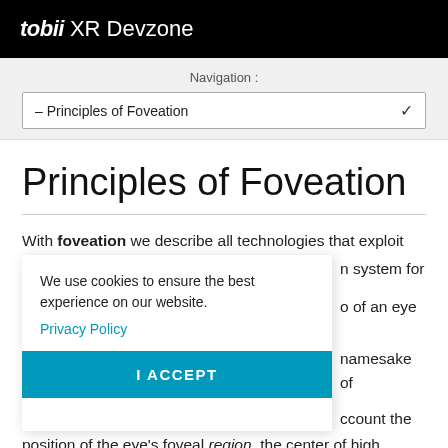tobii XR Devzone
Navigation :
– Principles of Foveation
Principles of Foveation
With foveation we describe all technologies that exploit [the visual] system for [the fovea] of an eye
We use cookies to ensure the best experience on our website.
Privacy Policy
namesake of [fovea, taking in]to account the position of the eye's foveal region, the center of high